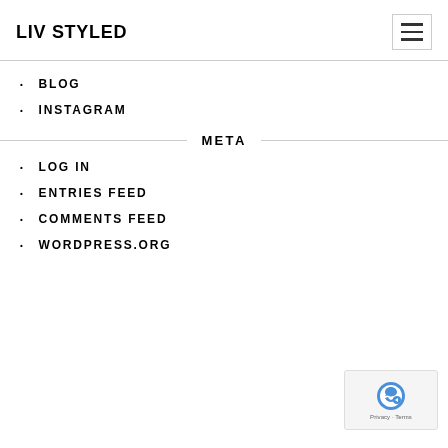LIV STYLED
BLOG
INSTAGRAM
META
LOG IN
ENTRIES FEED
COMMENTS FEED
WORDPRESS.ORG